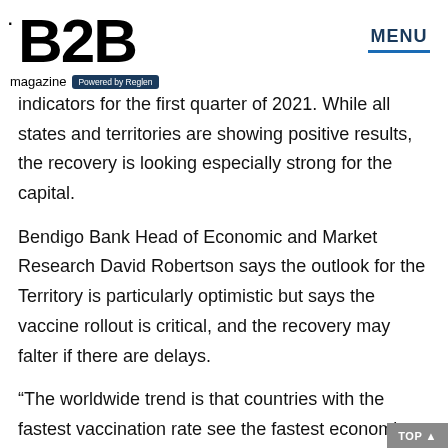B2B magazine Powered by Reglen | MENU
indicators for the first quarter of 2021. While all states and territories are showing positive results, the recovery is looking especially strong for the capital.
Bendigo Bank Head of Economic and Market Research David Robertson says the outlook for the Territory is particularly optimistic but says the vaccine rollout is critical, and the recovery may falter if there are delays.
“The worldwide trend is that countries with the fastest vaccination rate see the fastest economic recovery. Avoiding the need to lockdown is key; fortunately, that is something the ACT has largely escaped – so far.” Mr